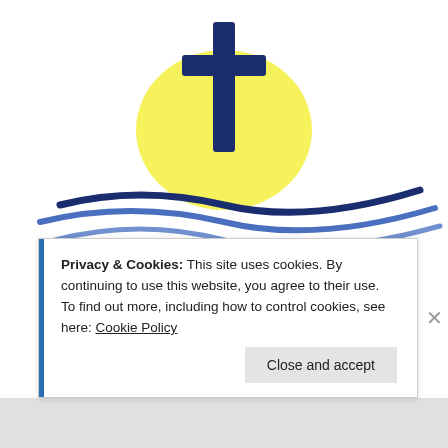[Figure (logo): Janesville Apostolic Ministries logo: a dark blue cross with yellow radiant background, blue wave lines beneath, with script text 'Janesville Apostolic M...' in dark blue cursive/serif font]
Privacy & Cookies: This site uses cookies. By continuing to use this website, you agree to their use.
To find out more, including how to control cookies, see here: Cookie Policy
Close and accept